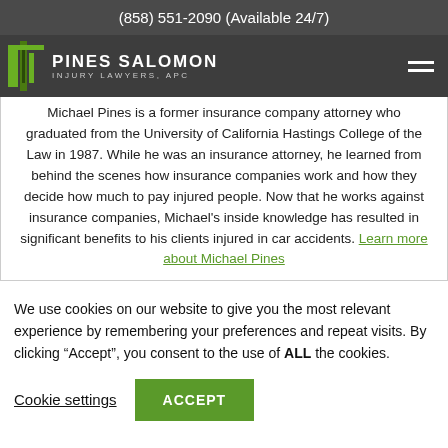(858) 551-2090 (Available 24/7)
[Figure (logo): Pines Salomon Injury Lawyers, APC logo with green pillar icon and white text on dark background, with hamburger menu icon on right]
Michael Pines is a former insurance company attorney who graduated from the University of California Hastings College of the Law in 1987. While he was an insurance attorney, he learned from behind the scenes how insurance companies work and how they decide how much to pay injured people. Now that he works against insurance companies, Michael's inside knowledge has resulted in significant benefits to his clients injured in car accidents. Learn more about Michael Pines
We use cookies on our website to give you the most relevant experience by remembering your preferences and repeat visits. By clicking “Accept”, you consent to the use of ALL the cookies.
Cookie settings   ACCEPT